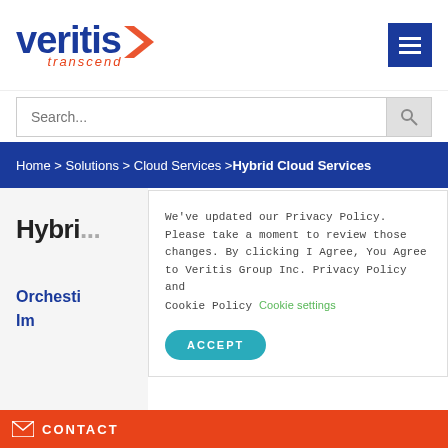[Figure (logo): Veritis transcend logo — blue bold lowercase 'veritis' with orange chevron mark, orange italic 'transcend' below]
Home > Solutions > Cloud Services > Hybrid Cloud Services
Hybrid Cloud Services
Orchestrating Multi-cloud Investments for Improved Business Outcomes
We've updated our Privacy Policy. Please take a moment to review those changes. By clicking I Agree, You Agree to Veritis Group Inc. Privacy Policy and Cookie Policy Cookie settings
ACCEPT
CONTACT